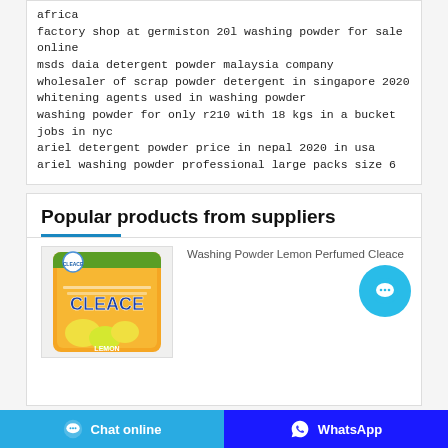africa
factory shop at germiston 20l washing powder for sale online
msds daia detergent powder malaysia company
wholesaler of scrap powder detergent in singapore 2020
whitening agents used in washing powder
washing powder for only r210 with 18 kgs in a bucket jobs in nyc
ariel detergent powder price in nepal 2020 in usa
ariel washing powder professional large packs size 6
Popular products from suppliers
[Figure (photo): Cleace Washing Powder Lemon Perfumed product bag with orange/yellow packaging and lemons]
Washing Powder Lemon Perfumed Cleace
Chat online   WhatsApp